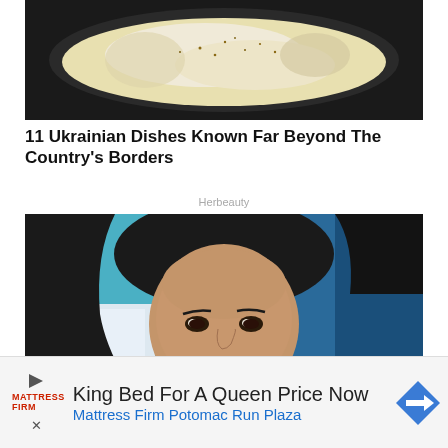[Figure (photo): Food photo showing creamy dish with seasoning in a dark pan]
11 Ukrainian Dishes Known Far Beyond The Country’s Borders
Herbeauty
[Figure (photo): Portrait of a woman with dark hair against a teal/blue background]
King Bed For A Queen Price Now
Mattress Firm Potomac Run Plaza